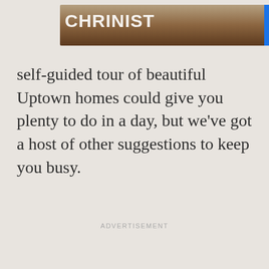[Figure (screenshot): Partial YouTube banner advertisement showing a cooking/food scene with 'on YouTube' text and play button on blue background, partially cropped at top]
self-guided tour of beautiful Uptown homes could give you plenty to do in a day, but we've got a host of other suggestions to keep you busy.
ADVERTISEMENT